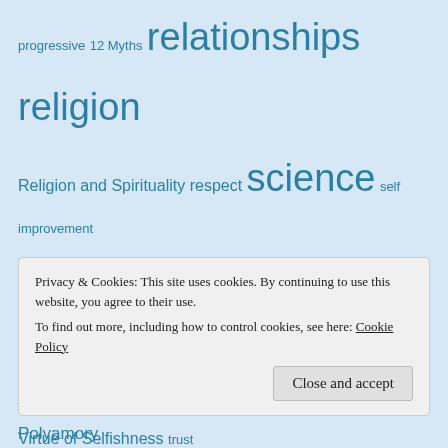progressive  12 Myths  relationships religion  Religion and Spirituality  respect  science  self improvement  selfishness  separation of church and state  sex  skepticism  social  justice  society  spirituality  theology  The Virtue of Selfishness  trust  truth  values
Authors
[Figure (illustration): Author avatar showing a dark purple/blue heart with crossed lines on light background]
Privacy & Cookies: This site uses cookies. By continuing to use this website, you agree to their use.
To find out more, including how to control cookies, see here: Cookie Policy
Close and accept
Polyamory